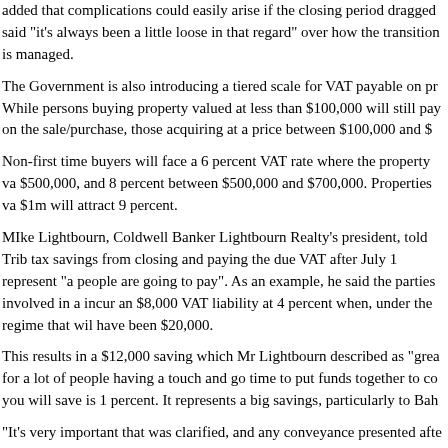added that complications could easily arise if the closing period dragged said “it’s always been a little loose in that regard” over how the transition is managed.
The Government is also introducing a tiered scale for VAT payable on pr… While persons buying property valued at less than $100,000 will still pay on the sale/purchase, those acquiring at a price between $100,000 and $…
Non-first time buyers will face a 6 percent VAT rate where the property va… $500,000, and 8 percent between $500,000 and $700,000. Properties va… $1m will attract 9 percent.
MIke Lightbourn, Coldwell Banker Lightbourn Realty’s president, told Trib… tax savings from closing and paying the due VAT after July 1 represent “a… people are going to pay”. As an example, he said the parties involved in a… incur an $8,000 VAT liability at 4 percent when, under the regime that wil… have been $20,000.
This results in a $12,000 saving which Mr Lightbourn described as “grea… for a lot of people having a touch and go time to put funds together to co… you will save is 1 percent. It represents a big savings, particularly to Bah…
“It’s very important that was clarified, and any conveyance presented afte… on a transaction between $100,000 and $1m.” Meanwhile, David Morley,… lamented that successive administrations too often only looked at how to…